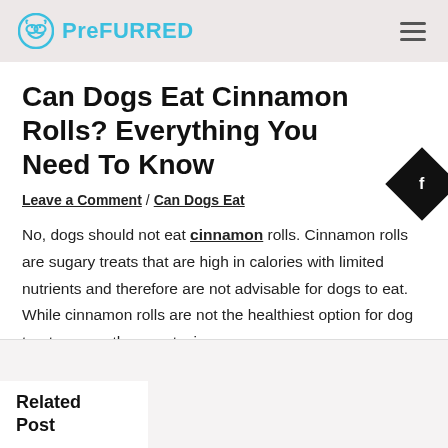PreFURRED
Can Dogs Eat Cinnamon Rolls? Everything You Need To Know
Leave a Comment / Can Dogs Eat
No, dogs should not eat cinnamon rolls. Cinnamon rolls are sugary treats that are high in calories with limited nutrients and therefore are not advisable for dogs to eat. While cinnamon rolls are not the healthiest option for dog treats, [does not] mean they are toxic.
Related Post